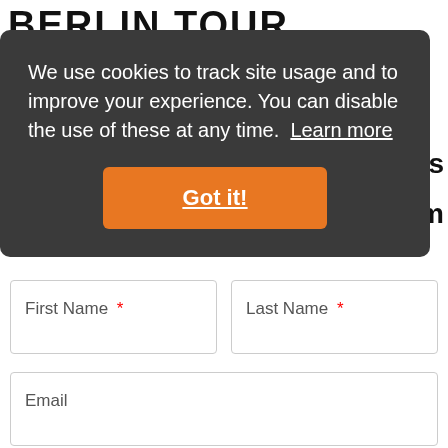BERLIN TOUR...
We use cookies to track site usage and to improve your experience. You can disable the use of these at any time. Learn more
Got it!
First Name *
Last Name *
Email